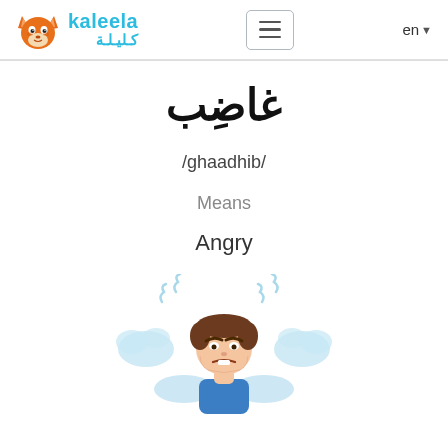kaleela / كليلة — en
غاضِب
/ghaadhib/
Means
Angry
[Figure (illustration): Cartoon illustration of an angry man with steam/smoke puffs coming from his head, shown from the shoulders up, wearing a blue outfit]